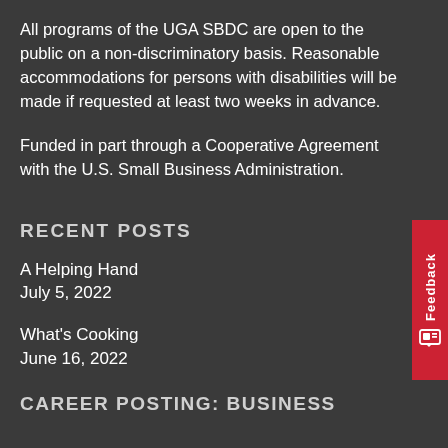All programs of the UGA SBDC are open to the public on a non-discriminatory basis. Reasonable accommodations for persons with disabilities will be made if requested at least two weeks in advance.
Funded in part through a Cooperative Agreement with the U.S. Small Business Administration.
RECENT POSTS
A Helping Hand
July 5, 2022
What's Cooking
June 16, 2022
CAREER POSTING: BUSINESS